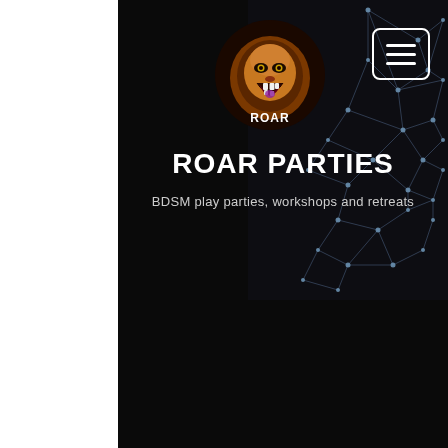[Figure (logo): ROAR logo with roaring lion head and text ROAR]
[Figure (infographic): Hamburger/menu button icon with three horizontal lines in a rounded rectangle border]
ROAR PARTIES
BDSM play parties, workshops and retreats
[Figure (illustration): Abstract network/polygon geometric pattern on dark background, upper right area]